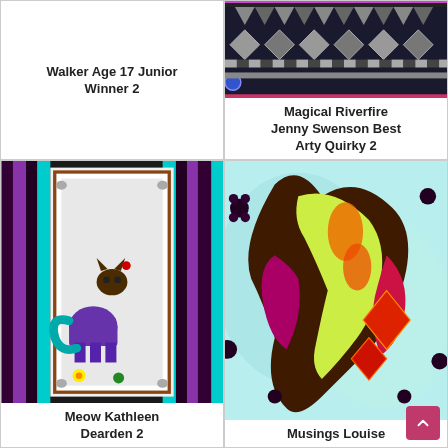Walker Age 17 Junior Winner 2
[Figure (photo): Quilt with geometric triangles and diamond patterns on dark background - Magical Riverfire]
Magical Riverfire Jenny Swenson Best Arty Quirky 2
[Figure (photo): Quilt featuring cat and elephant shapes with teal, purple and multicolor striped border - Meow Kathleen Dearden]
Meow Kathleen Dearden 2
[Figure (photo): Quilt featuring colorful bird/phoenix design with floral elements on light background - Musings Louise]
Musings Louise